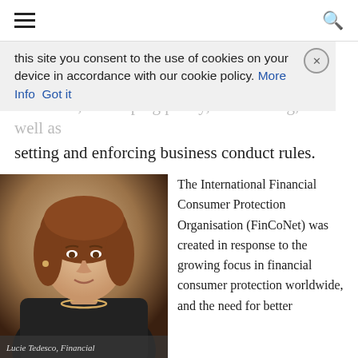Navigation header with hamburger menu and search icon
this site you consent to the use of cookies on your device in accordance with our cookie policy. More Info Got it
standards, developing policy, rule making, as well as setting and enforcing business conduct rules.
[Figure (photo): Portrait photo of Lucie Tedesco, Financial professional, woman with reddish-brown hair wearing dark turtleneck and pearl necklace, against warm beige/brown background]
Lucie Tedesco, Financial
The International Financial Consumer Protection Organisation (FinCoNet) was created in response to the growing focus in financial consumer protection worldwide, and the need for better